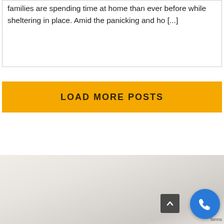families are spending time at home than ever before while sheltering in place. Amid the panicking and ho [...]
LOAD MORE POSTS
[Figure (photo): Light-colored interior room photo visible at bottom of page]
Terms